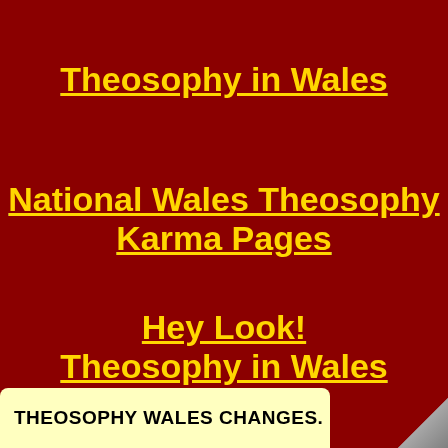Theosophy in Wales
National Wales Theosophy Karma Pages
Hey Look! Theosophy in Wales
THEOSOPHY WALES CHANGES.